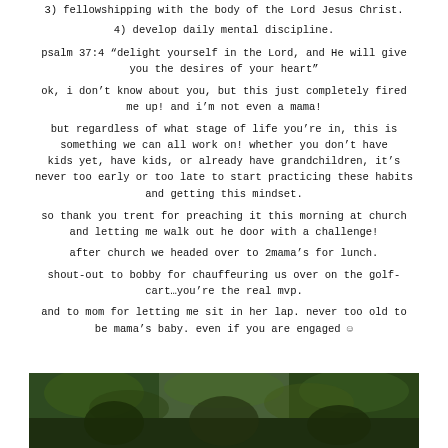3) fellowshipping with the body of the Lord Jesus Christ.
4) develop daily mental discipline.
psalm 37:4 “delight yourself in the Lord, and He will give you the desires of your heart”
ok, i don’t know about you, but this just completely fired me up! and i’m not even a mama!
but regardless of what stage of life you’re in, this is something we can all work on! whether you don’t have kids yet, have kids, or already have grandchildren, it’s never too early or too late to start practicing these habits and getting this mindset.
so thank you trent for preaching it this morning at church and letting me walk out he door with a challenge!
after church we headed over to 2mama’s for lunch.
shout-out to bobby for chauffeuring us over on the golf-cart…you’re the real mvp.
and to mom for letting me sit in her lap. never too old to be mama’s baby. even if you are engaged ☺
[Figure (photo): Outdoor photo of people, appears to be a group photo in a natural setting with trees/greenery in the background, partially cropped at bottom of page]